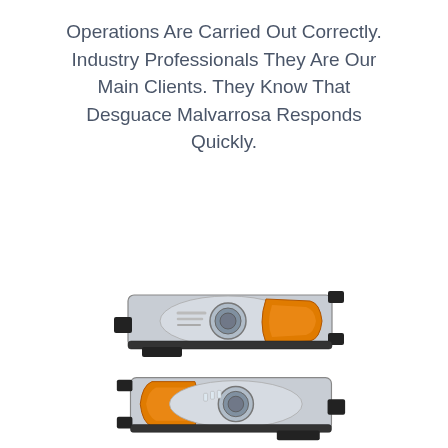Operations Are Carried Out Correctly. Industry Professionals They Are Our Main Clients. They Know That Desguace Malvarrosa Responds Quickly.
[Figure (photo): Two car headlights (automotive headlamp assemblies) shown stacked vertically. Each headlight features a chrome/silver housing with a projector lens, orange/amber turn signal section, and black mounting tabs. The top headlight faces right and the bottom headlight faces slightly left.]